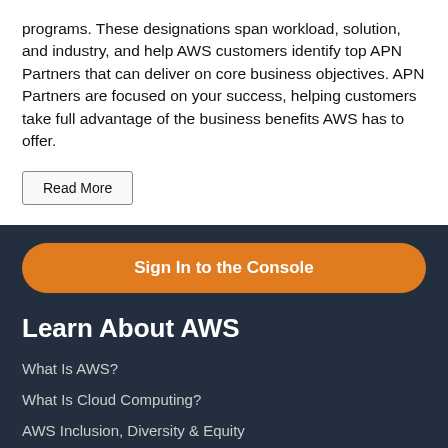programs. These designations span workload, solution, and industry, and help AWS customers identify top APN Partners that can deliver on core business objectives. APN Partners are focused on your success, helping customers take full advantage of the business benefits AWS has to offer.
Read More
Sign In to the Console
Learn About AWS
What Is AWS?
What Is Cloud Computing?
AWS Inclusion, Diversity & Equity
What Is DevOps?
What Is a Container?